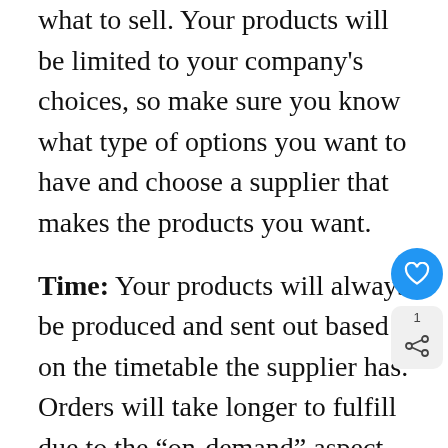what to sell. Your products will be limited to your company's choices, so make sure you know what type of options you want to have and choose a supplier that makes the products you want.
Time: Your products will always be produced and sent out based on the timetable the supplier has. Orders will take longer to fulfill due to the "on-demand" aspect. They will be created when the order is put in and so there will be no back stock to pull from. This means it takes a lot longer between ordering and delivery, which can be frustrating for customers.